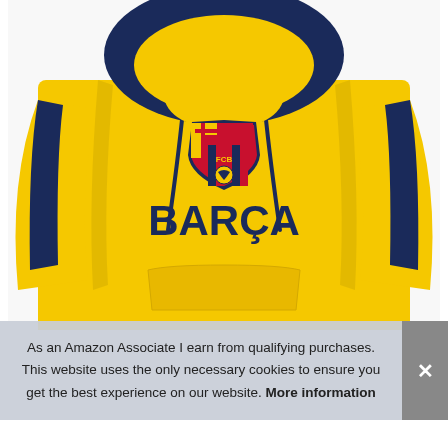[Figure (photo): Yellow FC Barcelona hoodie with navy blue hood and side stripes, featuring the FCB crest and 'BARCA' text on the chest, worn by a person (torso only visible).]
As an Amazon Associate I earn from qualifying purchases. This website uses the only necessary cookies to ensure you get the best experience on our website. More information